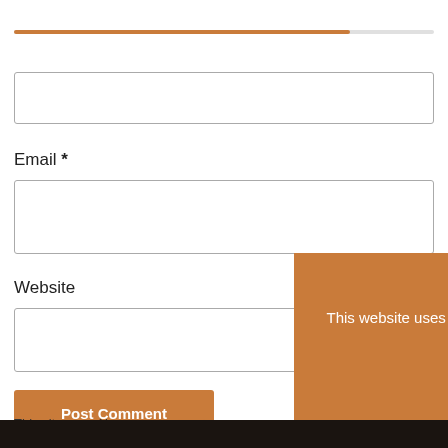[Figure (other): Orange/brown horizontal progress bar near top of page]
[Figure (other): Empty text input box for Name field]
Email *
[Figure (other): Empty text input box for Email field]
Website
[Figure (other): Empty text input box for Website field]
[Figure (other): Orange Post Comment button]
This site uses Ak comment data is
[Figure (other): Cookie consent popup overlay with text: This website uses cookies to improve your experience. We'll assume you're ok with this, but you can opt-out if you wish. Accept and Reject buttons. Privacy Policy link.]